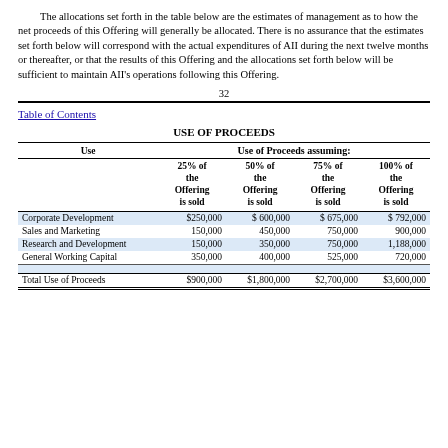The allocations set forth in the table below are the estimates of management as to how the net proceeds of this Offering will generally be allocated. There is no assurance that the estimates set forth below will correspond with the actual expenditures of AII during the next twelve months or thereafter, or that the results of this Offering and the allocations set forth below will be sufficient to maintain AII's operations following this Offering.
32
Table of Contents
USE OF PROCEEDS
| Use | 25% of the Offering is sold | 50% of the Offering is sold | 75% of the Offering is sold | 100% of the Offering is sold |
| --- | --- | --- | --- | --- |
| Corporate Development | $250,000 | $ 600,000 | $ 675,000 | $ 792,000 |
| Sales and Marketing | 150,000 | 450,000 | 750,000 | 900,000 |
| Research and Development | 150,000 | 350,000 | 750,000 | 1,188,000 |
| General Working Capital | 350,000 | 400,000 | 525,000 | 720,000 |
| Total Use of Proceeds | $900,000 | $1,800,000 | $2,700,000 | $3,600,000 |